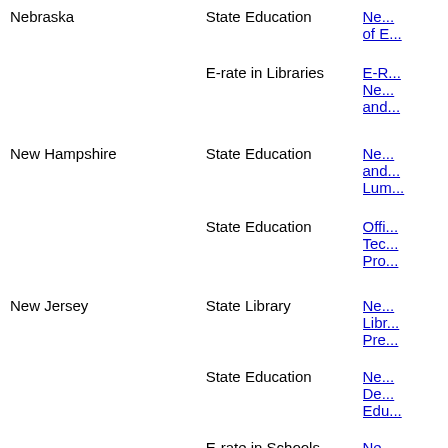| State | Type | Link |
| --- | --- | --- |
| Nebraska | State Education | Ne... of E... |
|  | E-rate in Libraries | E-R... Ne... and... |
| New Hampshire | State Education | Ne... and... Lum... |
|  | State Education | Offi... Tec... Pro... |
| New Jersey | State Library | Ne... Libr... Pre... |
|  | State Education | Ne... De... Edu... |
|  | E-rate in Schools | Ne... De... Edu... |
|  | NSLP | Ne... De... |